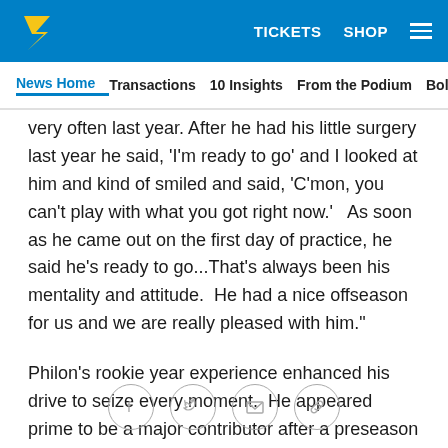TICKETS  SHOP
News Home  Transactions  10 Insights  From the Podium  Bolts
very often last year.  After he had his little surgery last year he said, 'I'm ready to go' and I looked at him and kind of smiled and said, 'C'mon, you can't play with what you got right now.'   As soon as he came out on the first day of practice, he said he's ready to go...That's always been his mentality and attitude.  He had a nice offseason for us and we are really pleased with him."
Philon's rookie year experience enhanced his drive to seize every moment.  He appeared prime to be a major contributor after a preseason in which he tallied seven tackles and one sack in limited action. However, a freak hip injury suffered in practice sidelined him all the way